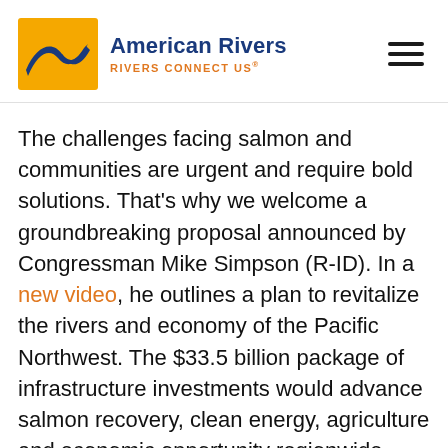[Figure (logo): American Rivers logo — orange square with blue wave icon on left, 'American Rivers' in bold dark blue text on right, 'RIVERS CONNECT US®' in orange below]
The challenges facing salmon and communities are urgent and require bold solutions. That's why we welcome a groundbreaking proposal announced by Congressman Mike Simpson (R-ID). In a new video, he outlines a plan to revitalize the rivers and economy of the Pacific Northwest. The $33.5 billion package of infrastructure investments would advance salmon recovery, clean energy, agriculture and economic opportunity regionwide, and honor treaties and responsibilities to Northwest tribes.